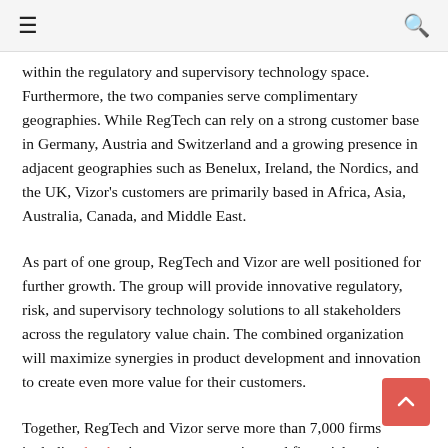≡  🔍
within the regulatory and supervisory technology space. Furthermore, the two companies serve complimentary geographies. While RegTech can rely on a strong customer base in Germany, Austria and Switzerland and a growing presence in adjacent geographies such as Benelux, Ireland, the Nordics, and the UK, Vizor's customers are primarily based in Africa, Asia, Australia, Canada, and Middle East.
As part of one group, RegTech and Vizor are well positioned for further growth. The group will provide innovative regulatory, risk, and supervisory technology solutions to all stakeholders across the regulatory value chain. The combined organization will maximize synergies in product development and innovation to create even more value for their customers.
Together, RegTech and Vizor serve more than 7,000 firms including banks, insurance companies, and financial services providers with reporting